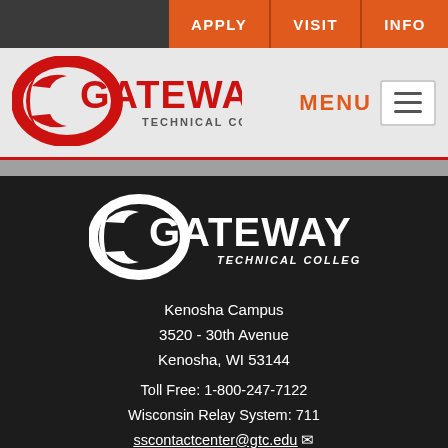APPLY  VISIT  INFO
[Figure (logo): Gateway Technical College logo (red) in header]
MENU
[Figure (logo): Gateway Technical College logo (white on dark) in footer]
Kenosha Campus
3520 - 30th Avenue
Kenosha, WI 53144
Toll Free: 1-800-247-7122
Wisconsin Relay System: 711
sscontactcenter@gtc.edu
[Figure (infographic): Row of social media icons: Facebook, YouTube, Twitter, LinkedIn, Flickr, Instagram]